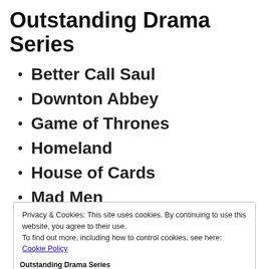Outstanding Drama Series
Better Call Saul
Downton Abbey
Game of Thrones
Homeland
House of Cards
Mad Men
Privacy & Cookies: This site uses cookies. By continuing to use this website, you agree to their use.
To find out more, including how to control cookies, see here: Cookie Policy
Close and accept
Outstanding Drama Series